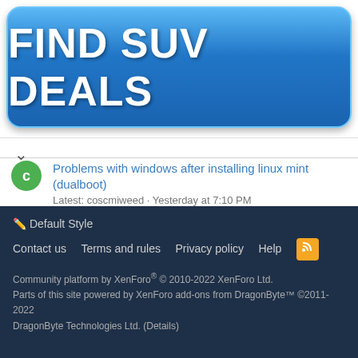[Figure (other): Blue gradient advertisement button with text FIND SUV DEALS]
Problems with windows after installing linux mint (dualboot)
Latest: coscmiweed · Yesterday at 7:10 PM
Getting Started
Is there any program for me to choose the gpu?
Latest: KGIII · Yesterday at 7:08 PM
General Linux
< Linux Gaming
✏ Default Style
Contact us   Terms and rules   Privacy policy   Help   [RSS]
Community platform by XenForo® © 2010-2022 XenForo Ltd.
Parts of this site powered by XenForo add-ons from DragonByte™ ©2011-2022 DragonByte Technologies Ltd. (Details)